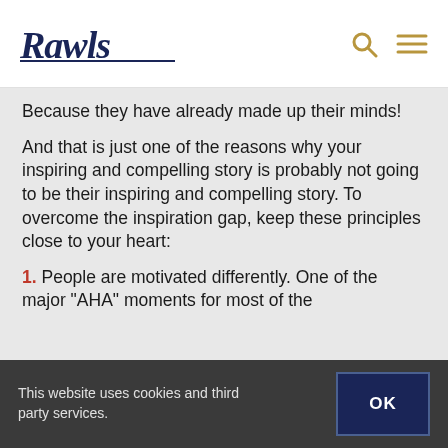Rawls
Because they have already made up their minds!
And that is just one of the reasons why your inspiring and compelling story is probably not going to be their inspiring and compelling story.  To overcome the inspiration gap, keep these principles close to your heart:
1. People are motivated differently.  One of the major "AHA" moments for most of the
This website uses cookies and third party services.